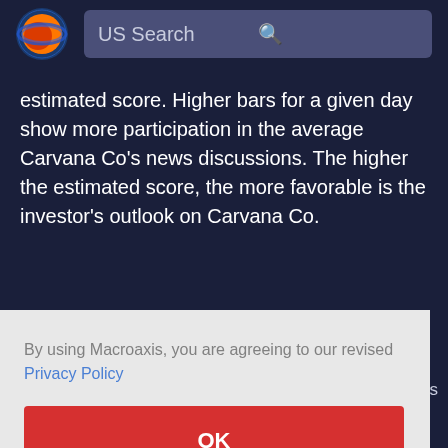US Search
estimated score. Higher bars for a given day show more participation in the average Carvana Co's news discussions. The higher the estimated score, the more favorable is the investor's outlook on Carvana Co.
By using Macroaxis, you are agreeing to our revised Privacy Policy
OK
ents
direction of its price. In a nutshell, if Carvana Co's implied